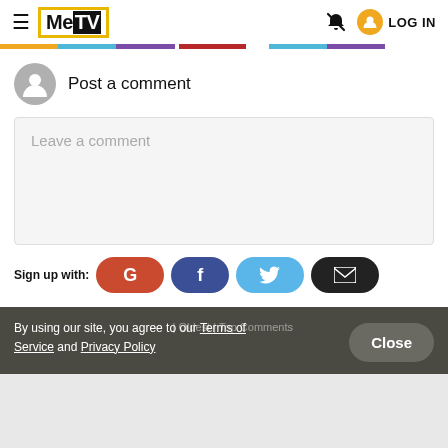MeTV | LOG IN
[Figure (screenshot): MeTV website header with hamburger menu, MeTV logo, bell notification icon, user circle icon, and LOG IN text]
Post a comment
Leave a comment
Sign up with:
[Figure (infographic): Social sign up buttons: Google (red), Facebook (dark blue), Twitter (light blue), Email (black)]
By using our site, you agree to our Terms of Service and Privacy Policy
| Oldest | Top Comments
Close